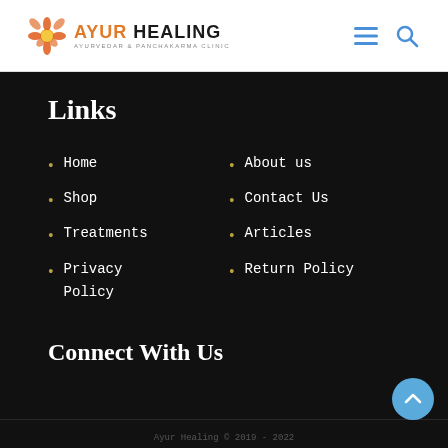AYUR HEALING - AYURVEDAR & PANCHKARMA CLINIC
Links
Home
Shop
Treatments
Privacy Policy
About us
Contact Us
Articles
Return Policy
Connect With Us
Ayur Healing © 2019 - 2022